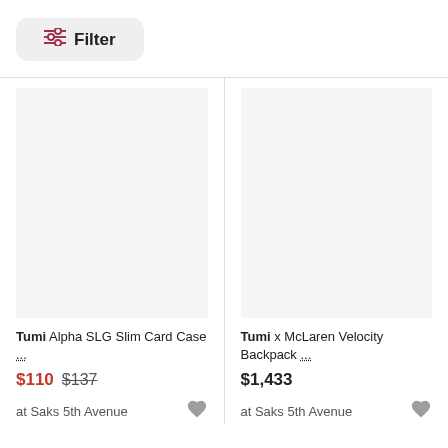Filter
[Figure (other): Product image placeholder for Tumi Alpha SLG Slim Card Case (light gray background, no image loaded)]
Tumi Alpha SLG Slim Card Case ...
$110 $137
at Saks 5th Avenue
[Figure (other): Product image placeholder for Tumi x McLaren Velocity Backpack (light gray background, no image loaded)]
Tumi x McLaren Velocity Backpack ...
$1,433
at Saks 5th Avenue